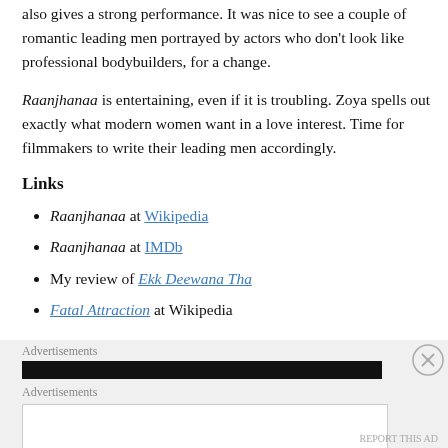also gives a strong performance. It was nice to see a couple of romantic leading men portrayed by actors who don't look like professional bodybuilders, for a change.
Raanjhanaa is entertaining, even if it is troubling. Zoya spells out exactly what modern women want in a love interest. Time for filmmakers to write their leading men accordingly.
Links
Raanjhanaa at Wikipedia
Raanjhanaa at IMDb
My review of Ekk Deewana Tha
Fatal Attraction at Wikipedia
Advertisements
Advertisements